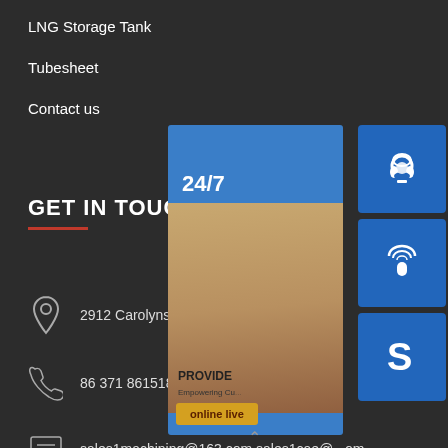LNG Storage Tank
Tubesheet
Contact us
GET IN TOUCH
2912 Carolyns Circle Dallas TX - 7...
86 371 86151827 86-371-8601188...
sales1machining@163.com sales1cae@...om
[Figure (screenshot): Customer support chat widget overlay showing a 24/7 support interface with a woman wearing a headset, three blue icon panels (headset, phone, Skype), and an 'online live' button. Text includes PROVIDE, Empowering Cu...]